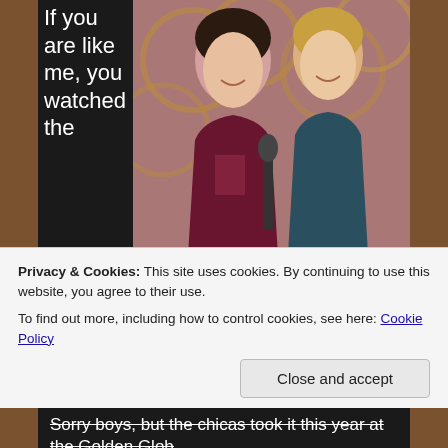If you are like me, you watched the Golden Globes this past Sunday Night. I like this awards show much better than the Oscars because it is fancy, yet all the stars seem to be relaxed and are enjoying themselves, because they are smashed
[Figure (photo): Two women standing at a podium, likely at the Golden Globes awards show. One in a dark red/maroon dress and one in a dark teal dress.]
Privacy & Cookies: This site uses cookies. By continuing to use this website, you agree to their use.
To find out more, including how to control cookies, see here: Cookie Policy
Sorry boys, but the chicas took it this year at the Golden Glob...